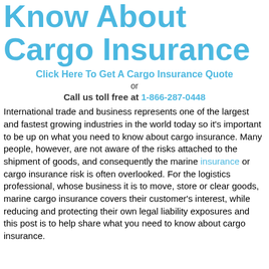Know About Cargo Insurance
Click Here To Get A Cargo Insurance Quote
or
Call us toll free at 1-866-287-0448
International trade and business represents one of the largest and fastest growing industries in the world today so it's important to be up on what you need to know about cargo insurance. Many people, however, are not aware of the risks attached to the shipment of goods, and consequently the marine insurance or cargo insurance risk is often overlooked. For the logistics professional, whose business it is to move, store or clear goods, marine cargo insurance covers their customer's interest, while reducing and protecting their own legal liability exposures and this post is to help share what you need to know about cargo insurance.